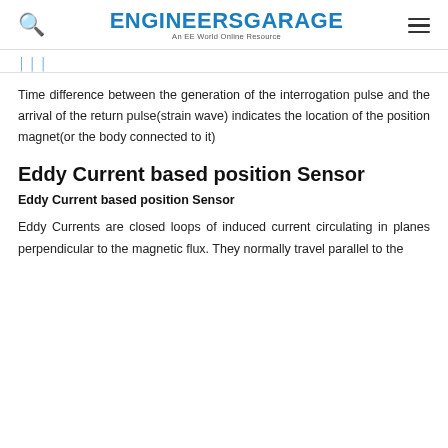ENGINEERS GARAGE — An EE World Online Resource
Time difference between the generation of the interrogation pulse and the arrival of the return pulse(strain wave) indicates the location of the position magnet(or the body connected to it)
Eddy Current based position Sensor
Eddy Current based position Sensor
Eddy Currents are closed loops of induced current circulating in planes perpendicular to the magnetic flux. They normally travel parallel to the